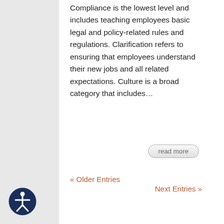Compliance is the lowest level and includes teaching employees basic legal and policy-related rules and regulations. Clarification refers to ensuring that employees understand their new jobs and all related expectations. Culture is a broad category that includes…
read more
« Older Entries
Next Entries »